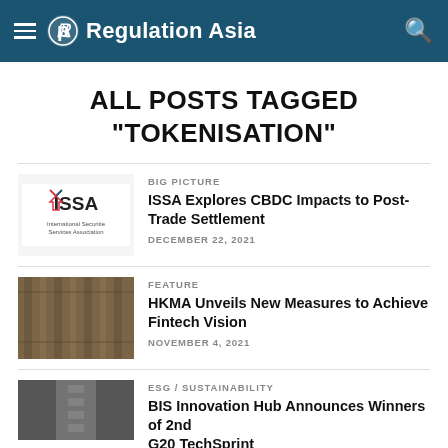Regulation Asia
ALL POSTS TAGGED "TOKENISATION"
BIG PICTURE | ISSA Explores CBDC Impacts to Post-Trade Settlement | DECEMBER 22, 2021
FEATURE | HKMA Unveils New Measures to Achieve Fintech Vision | NOVEMBER 4, 2021
ESG / SUSTAINABILITY | BIS Innovation Hub Announces Winners of 2nd G20 TechSprint